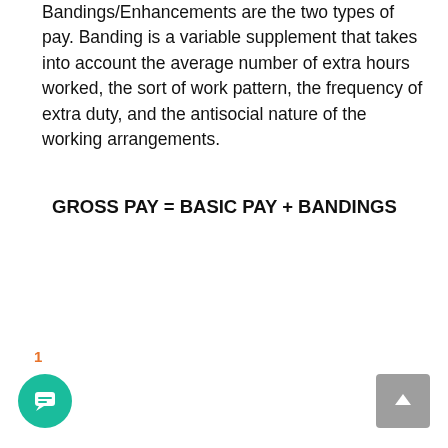Bandings/Enhancements are the two types of pay. Banding is a variable supplement that takes into account the average number of extra hours worked, the sort of work pattern, the frequency of extra duty, and the antisocial nature of the working arrangements.
1